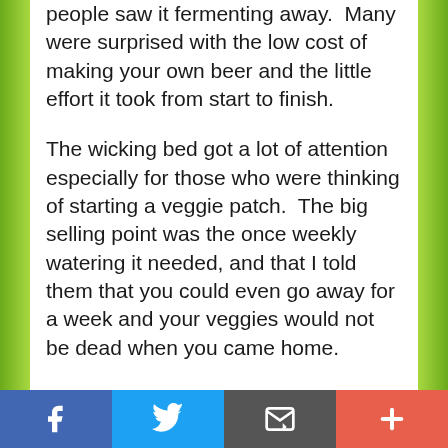people saw it fermenting away.  Many were surprised with the low cost of making your own beer and the little effort it took from start to finish.
The wicking bed got a lot of attention especially for those who were thinking of starting a veggie patch.  The big selling point was the once weekly watering it needed, and that I told them that you could even go away for a week and your veggies would not be dead when you came home.
Explaining my reasoning behind removing the front lawn and planting an orchard instead was interesting to most, and
[Figure (other): Social media share bar with Facebook (blue), Twitter (light blue), Email/envelope (dark grey), and plus/more (orange-red) buttons]